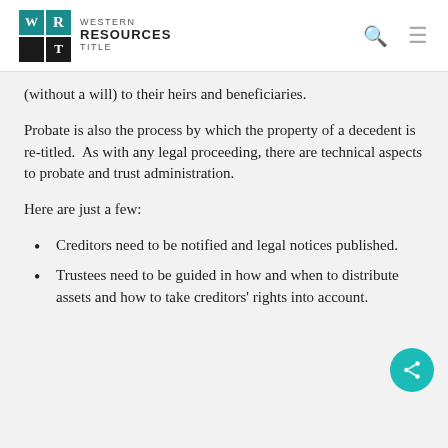Western Resources Title
(without a will) to their heirs and beneficiaries.
Probate is also the process by which the property of a decedent is re-titled.  As with any legal proceeding, there are technical aspects to probate and trust administration.
Here are just a few:
Creditors need to be notified and legal notices published.
Trustees need to be guided in how and when to distribute assets and how to take creditors' rights into account.